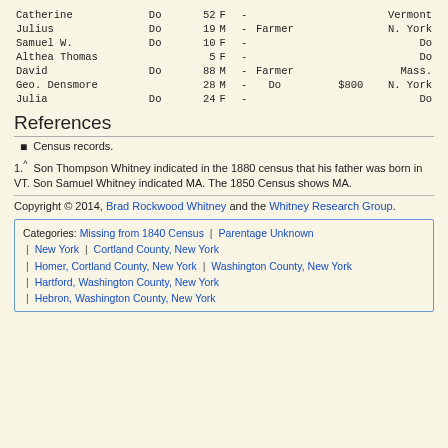| Name | Rel | Age | Sex |  | Occupation | Value | Birthplace |
| --- | --- | --- | --- | --- | --- | --- | --- |
| Catherine | Do | 52 | F | - |  |  | Vermont |
| Julius | Do | 19 | M | - | Farmer |  | N. York |
| Samuel W. | Do | 10 | F | - |  |  | Do |
| Althea Thomas |  | 5 | F | - |  |  | Do |
| David | Do | 88 | M | - | Farmer |  | Mass. |
| Geo. Densmore |  | 28 | M | - | Do | $800 | N. York |
| Julia | Do | 24 | F | - |  |  | Do |
References
Census records.
1.^  Son Thompson Whitney indicated in the 1880 census that his father was born in VT. Son Samuel Whitney indicated MA. The 1850 Census shows MA.
Copyright © 2014, Brad Rockwood Whitney and the Whitney Research Group.
Categories:  Missing from 1840 Census | Parentage Unknown | New York | Cortland County, New York | Homer, Cortland County, New York | Washington County, New York | Hartford, Washington County, New York | Hebron, Washington County, New York